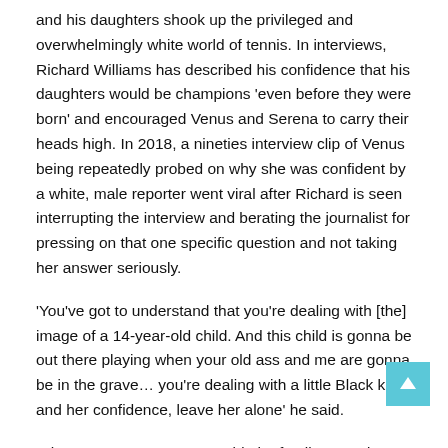and his daughters shook up the privileged and overwhelmingly white world of tennis. In interviews, Richard Williams has described his confidence that his daughters would be champions 'even before they were born' and encouraged Venus and Serena to carry their heads high. In 2018, a nineties interview clip of Venus being repeatedly probed on why she was confident by a white, male reporter went viral after Richard is seen interrupting the interview and berating the journalist for pressing on that one specific question and not taking her answer seriously.
'You've got to understand that you're dealing with [the] image of a 14-year-old child. And this child is gonna be out there playing when your old ass and me are gonna be in the grave… you're dealing with a little Black kid and her confidence, leave her alone' he said.
When Venus was 10 years old, the family moved to Florida so